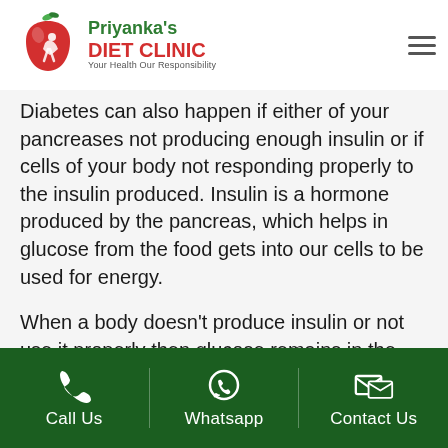[Figure (logo): Priyanka's Diet Clinic logo with red apple and figure, green text 'Priyanka's', red text 'DIET CLINIC', tagline 'Your Health Our Responsibility']
Diabetes can also happen if either of your pancreases not producing enough insulin or if cells of your body not responding properly to the insulin produced. Insulin is a hormone produced by the pancreas, which helps in glucose from the food gets into our cells to be used for energy.

When a body doesn't produce insulin or not use it properly then glucose remains in the blood and
Call Us   Whatsapp   Contact Us